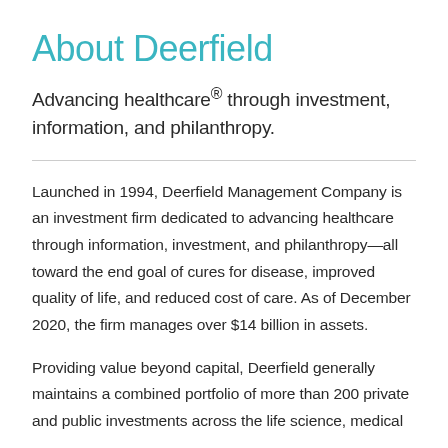About Deerfield
Advancing healthcare® through investment, information, and philanthropy.
Launched in 1994, Deerfield Management Company is an investment firm dedicated to advancing healthcare through information, investment, and philanthropy—all toward the end goal of cures for disease, improved quality of life, and reduced cost of care. As of December 2020, the firm manages over $14 billion in assets.
Providing value beyond capital, Deerfield generally maintains a combined portfolio of more than 200 private and public investments across the life science, medical